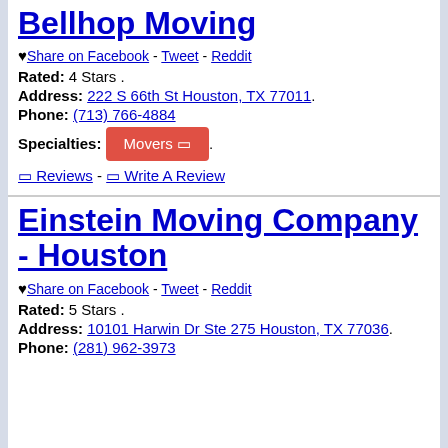Bellhop Moving
♥ Share on Facebook - Tweet - Reddit
Rated: 4 Stars .
Address: 222 S 66th St Houston, TX 77011.
Phone: (713) 766-4884
Specialties: Movers □ .
□ Reviews - □ Write A Review
Einstein Moving Company - Houston
♥ Share on Facebook - Tweet - Reddit
Rated: 5 Stars .
Address: 10101 Harwin Dr Ste 275 Houston, TX 77036.
Phone: (281) 962-3973